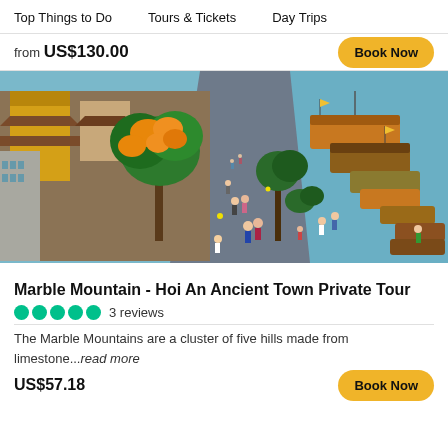Top Things to Do    Tours & Tickets    Day Trips
from US$130.00
Book Now
[Figure (photo): Aerial view of Hoi An Ancient Town street with orange blossom trees, pedestrians walking, and traditional boats moored along a river on the right side.]
Marble Mountain - Hoi An Ancient Town Private Tour
●●●●● 3 reviews
The Marble Mountains are a cluster of five hills made from limestone...read more
US$57.18
Book Now